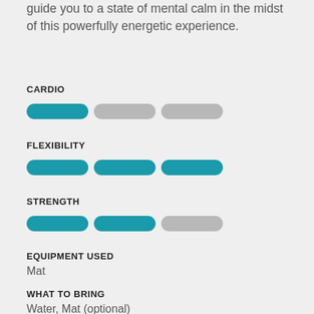guide you to a state of mental calm in the midst of this powerfully energetic experience.
CARDIO
[Figure (infographic): Three horizontal pill-shaped bars for Cardio: first teal, second gray, third gray — indicating low-medium cardio level]
FLEXIBILITY
[Figure (infographic): Three horizontal pill-shaped bars for Flexibility: all three teal — indicating high flexibility]
STRENGTH
[Figure (infographic): Three horizontal pill-shaped bars for Strength: first teal, second teal, third gray — indicating medium strength]
EQUIPMENT USED
Mat
WHAT TO BRING
Water, Mat (optional)